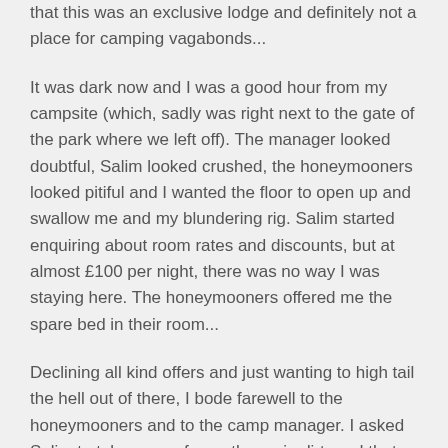that this was an exclusive lodge and definitely not a place for camping vagabonds...
It was dark now and I was a good hour from my campsite (which, sadly was right next to the gate of the park where we left off).  The manager looked doubtful, Salim looked crushed, the honeymooners looked pitiful and I wanted the floor to open up and swallow me and my blundering rig.  Salim started enquiring about room rates and discounts, but at almost £100 per night, there was no way I was staying here.  The honeymooners offered me the spare bed in their room...
Declining all kind offers and just wanting to high tail the hell out of there, I bode farewell to the honeymooners and to the camp manager.  I asked Salim to take me as far as the main dirt road that leads to Kimana Gate. After briefly getting lost on the small bush tracks, we finally made it to the main dirt road 40 minutes later.  In the dark of the night, I pulled up